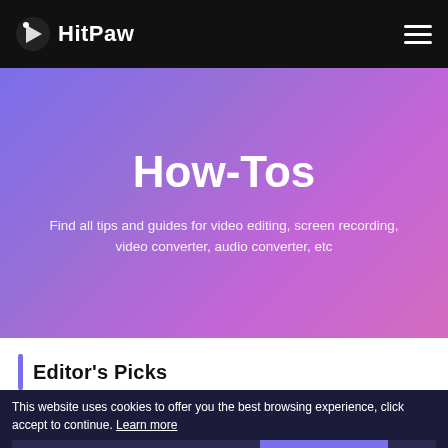HitPaw
How-Tos
Find all tips and guides for video editing, screen recording, video converter, audio converter, etc
Editor's Picks
This website uses cookies to offer you the best browsing experience, click accept to continue. Learn more
Download YouTube Playlist Apple Music Converter To MP3